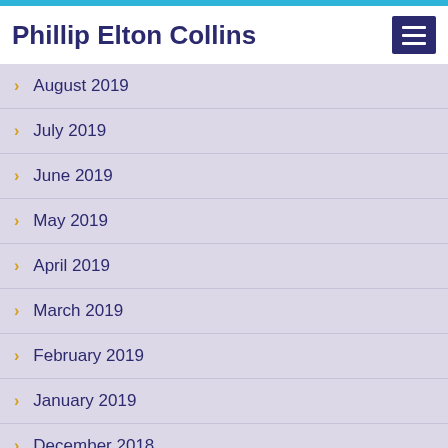Phillip Elton Collins
August 2019
July 2019
June 2019
May 2019
April 2019
March 2019
February 2019
January 2019
December 2018
November 2018